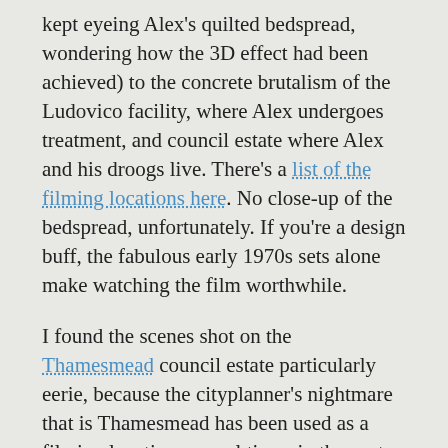kept eyeing Alex's quilted bedspread, wondering how the 3D effect had been achieved) to the concrete brutalism of the Ludovico facility, where Alex undergoes treatment, and council estate where Alex and his droogs live. There's a list of the filming locations here. No close-up of the bedspread, unfortunately. If you're a design buff, the fabulous early 1970s sets alone make watching the film worthwhile.
I found the scenes shot on the Thamesmead council estate particularly eerie, because the cityplanner's nightmare that is Thamesmead has been used as a filming location several times in the past forty years, most recently in what is probably my favourite TV show at the moment, Channel 4's Misfits. And the shocking thing is that the Thamesmead council estate has barely changed at all in the forty years, let alone...